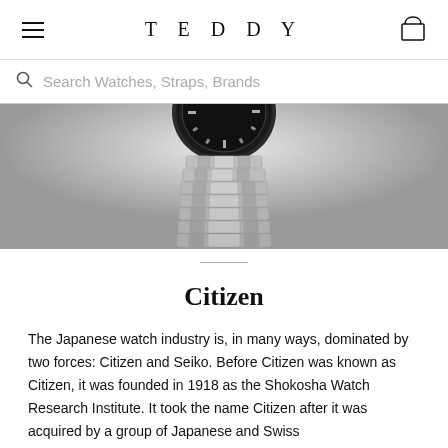TEDDY
Search Watches, Straps, Brands
[Figure (photo): Close-up of a silver watch with bracelet on a silver/grey gradient background]
Citizen
The Japanese watch industry is, in many ways, dominated by two forces: Citizen and Seiko. Before Citizen was known as Citizen, it was founded in 1918 as the Shokosha Watch Research Institute. It took the name Citizen after it was acquired by a group of Japanese and Swiss investors in the decades that followed.